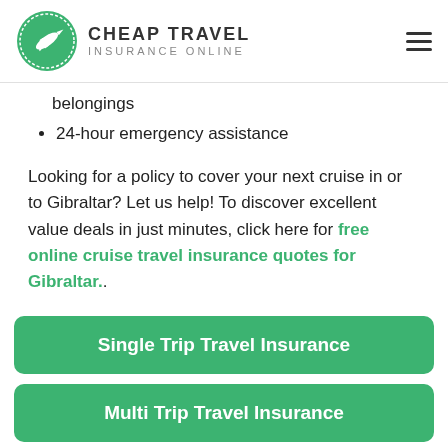CHEAP TRAVEL INSURANCE ONLINE
belongings
24-hour emergency assistance
Looking for a policy to cover your next cruise in or to Gibraltar? Let us help! To discover excellent value deals in just minutes, click here for free online cruise travel insurance quotes for Gibraltar..
Single Trip Travel Insurance
Multi Trip Travel Insurance